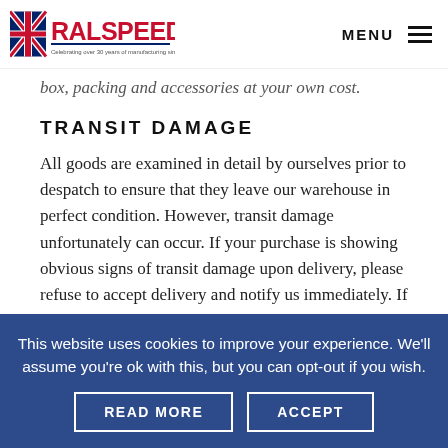RALSPEED — Celebrating over 30 years of manufacturing since 1988 | MENU
box, packing and accessories at your own cost.
TRANSIT DAMAGE
All goods are examined in detail by ourselves prior to despatch to ensure that they leave our warehouse in perfect condition. However, transit damage unfortunately can occur. If your purchase is showing obvious signs of transit damage upon delivery, please refuse to accept delivery and notify us immediately. If damage is
This website uses cookies to improve your experience. We'll assume you're ok with this, but you can opt-out if you wish.
READ MORE
ACCEPT